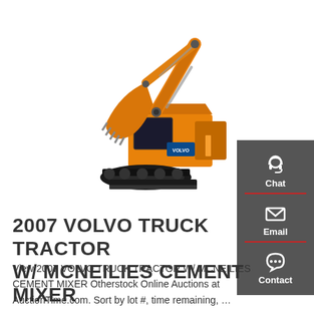[Figure (photo): Orange excavator/compact track excavator on white background, shown with boom arm extended and bucket lowered]
[Figure (infographic): Dark gray sidebar with Chat (headset icon), Email (envelope icon), and Contact (speech bubble icon) buttons with red dividers]
2007 VOLVO TRUCK TRACTOR W/ MCNEILIES CEMENT MIXER
View 2007 VOLVO TRUCK TRACTOR W/ MCNEILIES CEMENT MIXER Otherstock Online Auctions at AuctionTime.com. Sort by lot #, time remaining, …